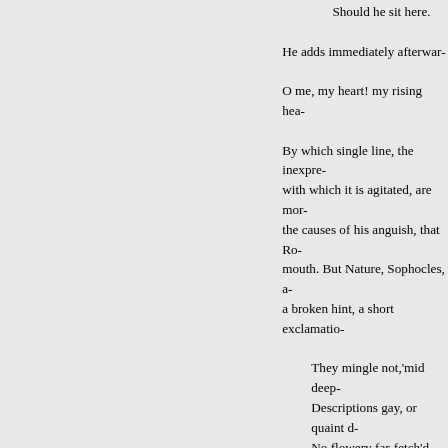Should he sit here.
He adds immediately afterwar...
O me, my heart! my rising hea...
By which single line, the inexpre... with which it is agitated, are mor... the causes of his anguish, that Ro... mouth. But Nature, Sophocles, a... a broken hint, a short exclamatio...
They mingle not,'mid deep-
Descriptions gay, or quaint ...
No flowery far-fetch'd thou...
Ill suits conceit with passio...
Here passion prompts each ...
Or silence paints what word...
When Jocasta, in Sophocles, has... leaves the stage: but in Corneille... in set speeches. I should be guilt... acknowledge, that I have been m... actor of the age who understand...